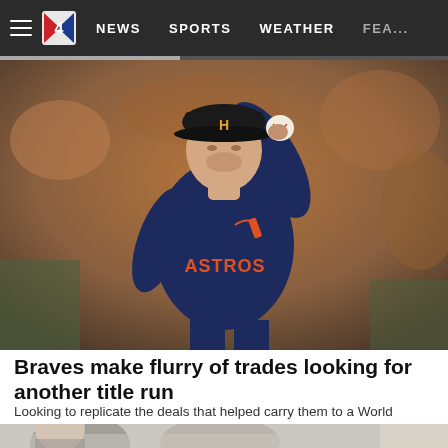Navigation bar: hamburger menu, Channel 4 logo, NEWS, SPORTS, WEATHER, FEA...
[Figure (photo): Houston Astros pitcher in navy blue uniform winding up to throw a baseball, wearing a black Astros cap with H logo, blurred stadium crowd in background]
Braves make flurry of trades looking for another title run
Looking to replicate the deals that helped carry them to a World Series title in 2021, the Atlanta Braves have pulled of a flurry of trades ahead...
[Figure (photo): Partial view of a person at bottom of page, cropped teaser image]